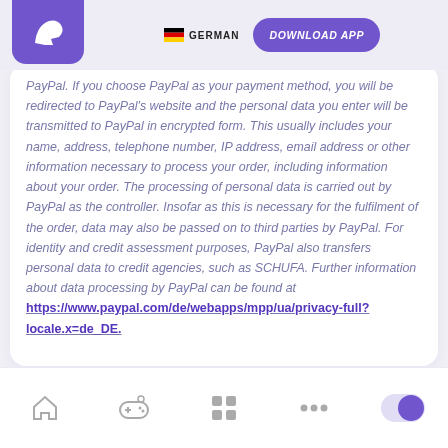GERMAN | DOWNLOAD APP
PayPal. If you choose PayPal as your payment method, you will be redirected to PayPal's website and the personal data you enter will be transmitted to PayPal in encrypted form. This usually includes your name, address, telephone number, IP address, email address or other information necessary to process your order, including information about your order. The processing of personal data is carried out by PayPal as the controller. Insofar as this is necessary for the fulfilment of the order, data may also be passed on to third parties by PayPal. For identity and credit assessment purposes, PayPal also transfers personal data to credit agencies, such as SCHUFA. Further information about data processing by PayPal can be found at https://www.paypal.com/de/webapps/mpp/ua/privacy-full?locale.x=de_DE.
Home | Games | Apps | More | Toggle